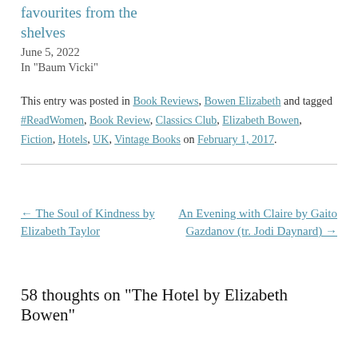favourites from the shelves
June 5, 2022
In "Baum Vicki"
This entry was posted in Book Reviews, Bowen Elizabeth and tagged #ReadWomen, Book Review, Classics Club, Elizabeth Bowen, Fiction, Hotels, UK, Vintage Books on February 1, 2017.
← The Soul of Kindness by Elizabeth Taylor
An Evening with Claire by Gaito Gazdanov (tr. Jodi Daynard) →
58 thoughts on "The Hotel by Elizabeth Bowen"